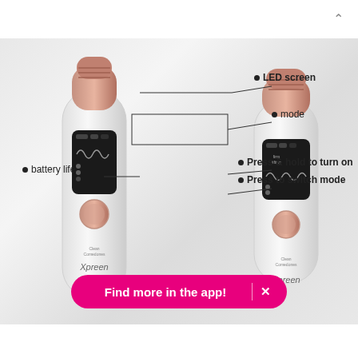[Figure (photo): Product photo of two Xpreen blackhead remover/comedone cleaner devices (white with rose gold accents) with annotation callouts: LED screen, mode, Press & hold to turn on, Press to switch mode, battery life. A pink banner reads 'Find more in the app! X' at the bottom.]